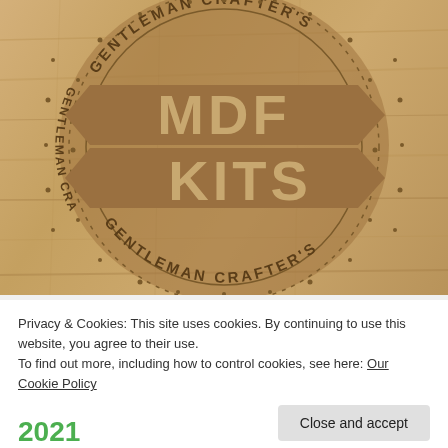[Figure (logo): Gentleman Crafter's MDF Kits logo engraved on wood. Circular badge with dotted border, text 'GENTLEMAN CRAFTER'S' arcing top and bottom (bottom text mirrored/upside-down), central ribbon banner with 'MDF' on top and 'KITS' on bottom in large letters, arrow-shaped ribbon pointing left and right.]
Privacy & Cookies: This site uses cookies. By continuing to use this website, you agree to their use.
To find out more, including how to control cookies, see here: Our Cookie Policy
Close and accept
2021